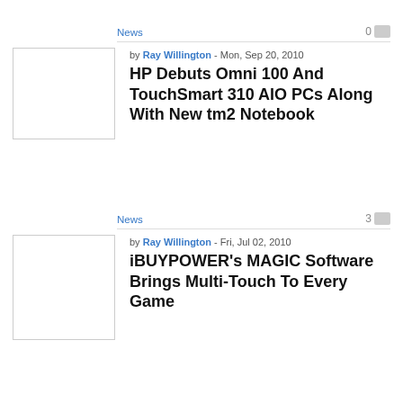News
0
by Ray Willington - Mon, Sep 20, 2010
HP Debuts Omni 100 And TouchSmart 310 AIO PCs Along With New tm2 Notebook
[Figure (photo): Article thumbnail image placeholder]
News
3
by Ray Willington - Fri, Jul 02, 2010
iBUYPOWER's MAGIC Software Brings Multi-Touch To Every Game
[Figure (photo): Article thumbnail image placeholder]